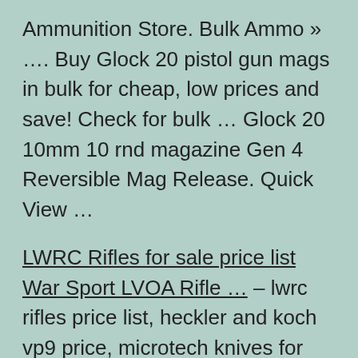Ammunition Store. Bulk Ammo » …. Buy Glock 20 pistol gun mags in bulk for cheap, low prices and save! Check for bulk … Glock 20 10mm 10 rnd magazine Gen 4 Reversible Mag Release. Quick View …
LWRC Rifles for sale price list War Sport LVOA Rifle … – lwrc rifles price list, heckler and koch vp9 price, microtech knives for sale, microtech ultratech combat troodon makora halo otf for sale, heckler and koch p30, hk …
Extensive selection of Glock pistols at great prices. … Sign up for our e-mail newsletter for